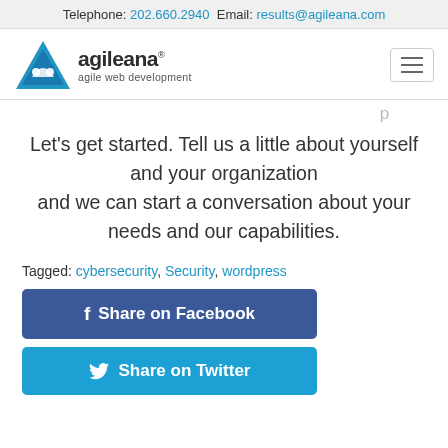Telephone: 202.660.2940 Email: results@agileana.com
[Figure (logo): Agileana logo with blue mountain/triangle icon and text 'agileana agile web development']
Let's get started. Tell us a little about yourself and your organization and we can start a conversation about your needs and our capabilities.
Tagged: cybersecurity, Security, wordpress
f Share on Facebook
Share on Twitter